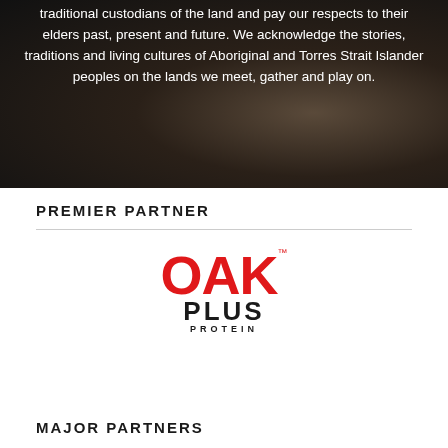[Figure (photo): Dark background image with hands or cultural imagery, partially visible at top of page with white text overlay about Aboriginal and Torres Strait Islander acknowledgement]
traditional custodians of the land and pay our respects to their elders past, present and future. We acknowledge the stories, traditions and living cultures of Aboriginal and Torres Strait Islander peoples on the lands we meet, gather and play on.
PREMIER PARTNER
[Figure (logo): OAK Plus Protein logo - OAK in large red bold text, PLUS in large black bold text below, PROTEIN in small black spaced text beneath]
MAJOR PARTNERS